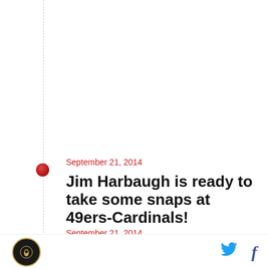September 21, 2014
Jim Harbaugh is ready to take some snaps at 49ers-Cardinals!
By David Fucillo | @davidfucillo
September 21, 2014
49ers-Cardinals first quarter open thread
By David Fucillo | @davidfucillo
The San Francisco 49ers head on the road to
logo | Twitter | Facebook